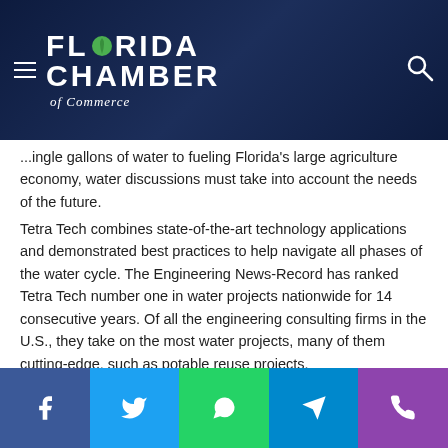Florida Chamber of Commerce
...single gallons of water to fueling Florida's large agriculture economy, water discussions must take into account the needs of the future.
Tetra Tech combines state-of-the-art technology applications and demonstrated best practices to help navigate all phases of the water cycle. The Engineering News-Record has ranked Tetra Tech number one in water projects nationwide for 14 consecutive years. Of all the engineering consulting firms in the U.S., they take on the most water projects, many of them cutting-edge, such as potable reuse projects.
Charles Drake, Vice President at Tetra Tech, believes the
Facebook | Twitter | WhatsApp | Telegram | Phone